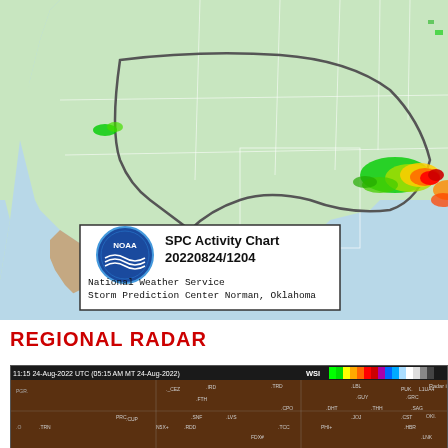[Figure (map): NOAA SPC Activity Chart dated 20220824/1204 showing radar returns over the continental United States. Green, yellow, orange, and red precipitation areas visible, particularly along Gulf Coast and southeastern US. NOAA logo and National Weather Service Storm Prediction Center Norman, Oklahoma branding in lower left.]
REGIONAL RADAR
[Figure (map): Regional radar image from WSI dated 11:15 24-Aug-2022 UTC (05:15 AM MT 24-Aug-2022). Dark brown background radar with station identifiers marked across what appears to be the southwestern/central US region. Color bar legend visible across the top.]